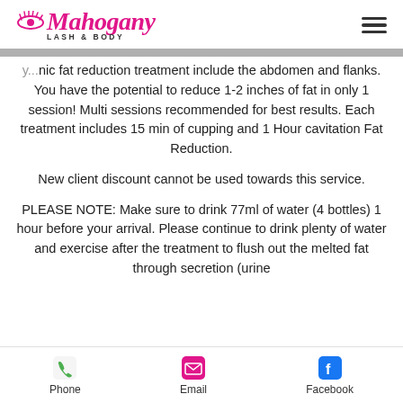Mahogany LASH & BODY
nic fat reduction treatment include the abdomen and flanks. You have the potential to reduce 1-2 inches of fat in only 1 session! Multi sessions recommended for best results. Each treatment includes 15 min of cupping and 1 Hour cavitation Fat Reduction.
New client discount cannot be used towards this service.
PLEASE NOTE: Make sure to drink 77ml of water (4 bottles) 1 hour before your arrival. Please continue to drink plenty of water and exercise after the treatment to flush out the melted fat through secretion (urine
Phone  Email  Facebook